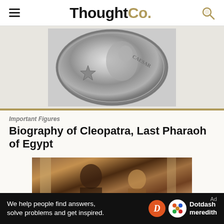ThoughtCo.
[Figure (photo): Ancient Roman silver coin (denarius) showing a profile portrait, with 'CAESAR' text and a star motif]
Important Figures
Biography of Cleopatra, Last Pharaoh of Egypt
[Figure (photo): Painting depicting Cleopatra and another Egyptian woman in ancient Egyptian/Roman attire]
We help people find answers, solve problems and get inspired. Dotdash meredith